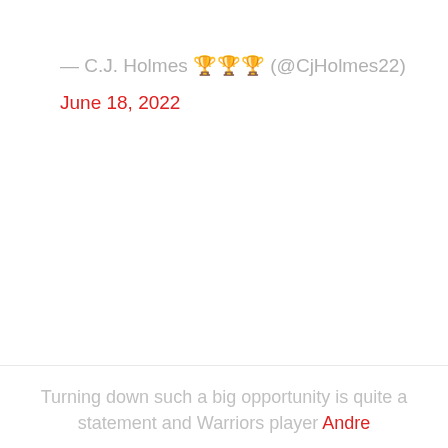— C.J. Holmes 🏆🏆🏆 (@CjHolmes22)
June 18, 2022
Turning down such a big opportunity is quite a statement and Warriors player Andre…